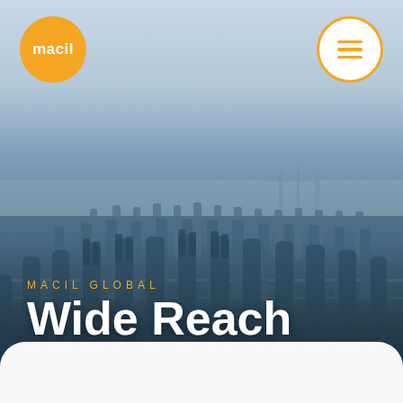[Figure (photo): Wide angle harbor photo showing rows of weathered wooden pier pilings standing in calm blue-grey water at dusk, with industrial port cranes visible in the misty background]
[Figure (logo): Orange circular logo with white text 'macil' in bold lowercase]
[Figure (other): White circular menu button with orange border and three orange horizontal lines (hamburger icon)]
MACIL GLOBAL
Wide Reach